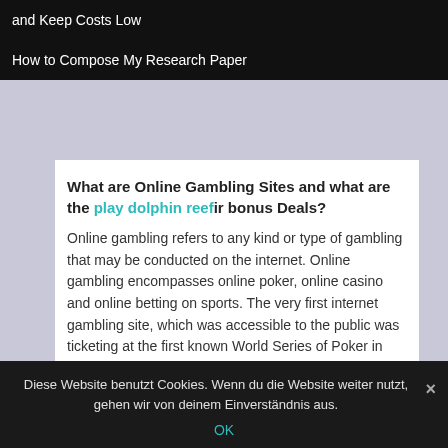and Keep Costs Low
How to Compose My Research Paper
What are Online Gambling Sites and what are the play dolphin reefir bonus Deals?
Online gambling refers to any kind or type of gambling that may be conducted on the internet. Online gambling encompasses online poker, online casino and online betting on sports. The very first internet gambling site, which was accessible to the public was ticketing at the first known World Series of Poker in October 1994.
Diese Website benutzt Cookies. Wenn du die Website weiter nutzt, gehen wir von deinem Einverständnis aus.
OK